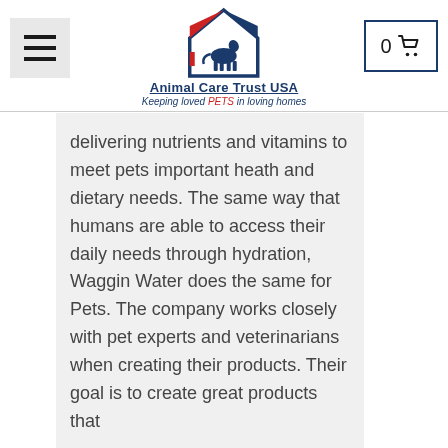Animal Care Trust USA — Keeping loved PETS in loving homes
delivering nutrients and vitamins to meet pets important heath and dietary needs. The same way that humans are able to access their daily needs through hydration, Waggin Water does the same for Pets. The company works closely with pet experts and veterinarians when creating their products. Their goal is to create great products that